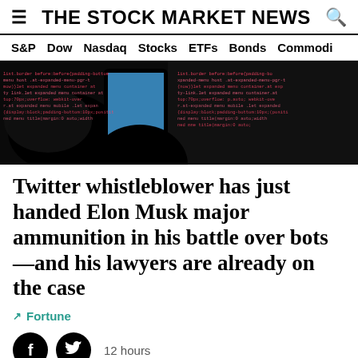THE STOCK MARKET NEWS
S&P  Dow  Nasdaq  Stocks  ETFs  Bonds  Commodi
[Figure (screenshot): Hero image showing a silhouette of hands on a dark background with colorful code/CSS text visible on the right side, suggesting a hacking or tech theme.]
Twitter whistleblower has just handed Elon Musk major ammunition in his battle over bots—and his lawyers are already on the case
Fortune
12 hours
EV Winners and Losers From Inflation